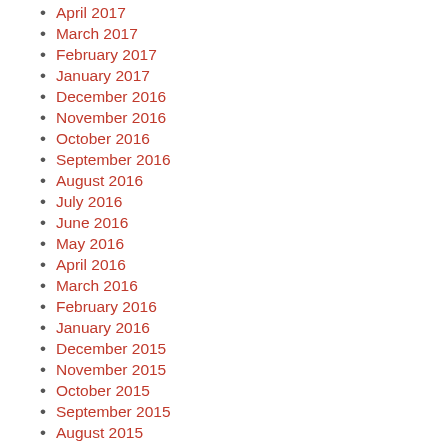April 2017
March 2017
February 2017
January 2017
December 2016
November 2016
October 2016
September 2016
August 2016
July 2016
June 2016
May 2016
April 2016
March 2016
February 2016
January 2016
December 2015
November 2015
October 2015
September 2015
August 2015
July 2015
June 2015